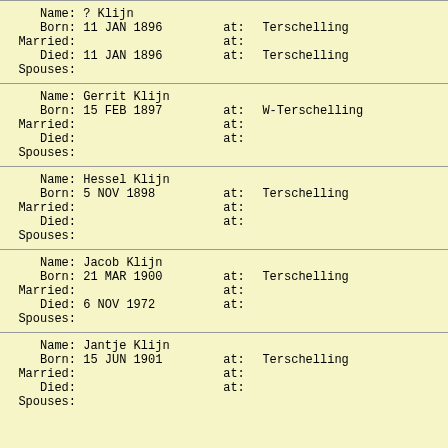| Name: | ? Klijn |  |  |
| Born: | 11 JAN 1896 | at: | Terschelling |
| Married: |  | at: |  |
| Died: | 11 JAN 1896 | at: | Terschelling |
| Spouses: |  |  |  |
| Name: | Gerrit Klijn |  |  |
| Born: | 15 FEB 1897 | at: | W-Terschelling |
| Married: |  | at: |  |
| Died: |  | at: |  |
| Spouses: |  |  |  |
| Name: | Hessel Klijn |  |  |
| Born: | 5 NOV 1898 | at: | Terschelling |
| Married: |  | at: |  |
| Died: |  | at: |  |
| Spouses: |  |  |  |
| Name: | Jacob Klijn |  |  |
| Born: | 21 MAR 1900 | at: | Terschelling |
| Married: |  | at: |  |
| Died: | 6 NOV 1972 | at: |  |
| Spouses: |  |  |  |
| Name: | Jantje Klijn |  |  |
| Born: | 15 JUN 1901 | at: | Terschelling |
| Married: |  | at: |  |
| Died: |  | at: |  |
| Spouses: |  |  |  |